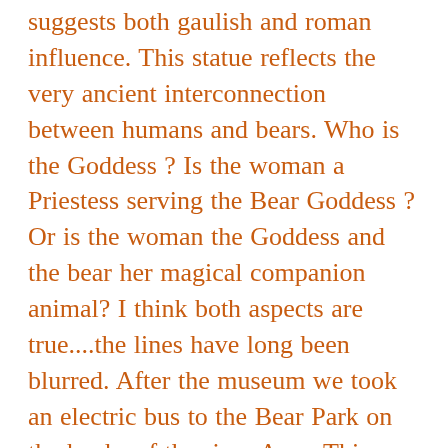suggests both gaulish and roman influence. This statue reflects the very ancient interconnection between humans and bears. Who is the Goddess ? Is the woman a Priestess serving the Bear Goddess ? Or is the woman the Goddess and the bear her magical companion animal? I think both aspects are true....the lines have long been blurred. After the museum we took an electric bus to the Bear Park on the banks of the river Aare. This was to be my first experience of seeing a bear in the world, all my contact with them so far has been in dream worlds or the screen. I approached it with very mixed feelings, part of me didn't want my first experience of bear to